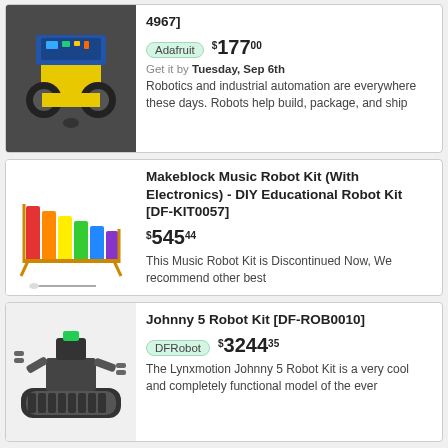[Figure (photo): Yellow robot car with Arduino-style controller board on top, two large wheels, dark background]
4967]
Adafruit $177.00
Get it by Tuesday, Sep 6th
Robotics and industrial automation are everywhere these days. Robots help build, package, and ship
[Figure (photo): Colorful rainbow xylophone toy with mallets, white background]
Makeblock Music Robot Kit (With Electronics) - DIY Educational Robot Kit [DF-KIT0057]
$545.44
This Music Robot Kit is Discontinued Now, We recommend other best
[Figure (photo): Johnny 5 style robot with tank treads and multiple articulated arms holding objects]
Johnny 5 Robot Kit [DF-ROB0010]
DFRobot $3244.35
The Lynxmotion Johnny 5 Robot Kit is a very cool and completely functional model of the ever